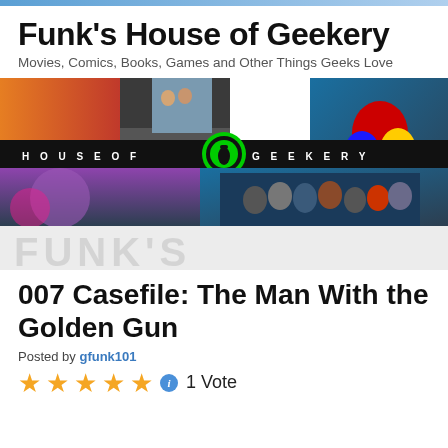Funk's House of Geekery
Movies, Comics, Books, Games and Other Things Geeks Love
[Figure (illustration): Funk's House of Geekery banner image with collage of movie/TV stills including silhouetted figures, a car, superhero characters, space scenes, and the House of Geekery logo (green lantern icon) in the center with text HOUSE OF GEEKERY on a black bar]
007 Casefile: The Man With the Golden Gun
Posted by gfunk101
1 Vote